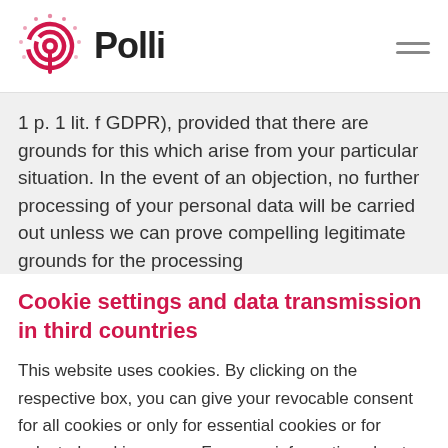Polli
1 p. 1 lit. f GDPR), provided that there are grounds for this which arise from your particular situation. In the event of an objection, no further processing of your personal data will be carried out unless we can prove compelling legitimate grounds for the processing
Cookie settings and data transmission in third countries
This website uses cookies. By clicking on the respective box, you can give your revocable consent for all cookies or only for essential cookies or for selected cookie groups. For more information about each cookie, click on 'Individual Cookie Settings'.